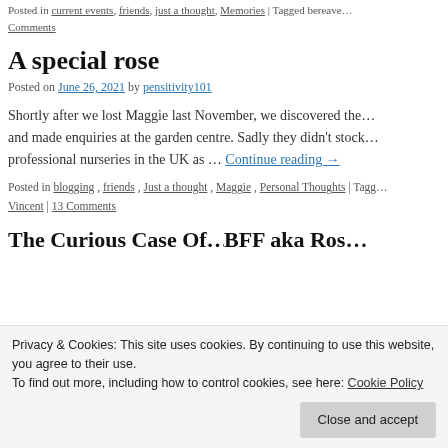Posted in current events, friends, just a thought, Memories | Tagged bereave… Comments
A special rose
Posted on June 26, 2021 by pensitivity101
Shortly after we lost Maggie last November, we discovered the… and made enquiries at the garden centre. Sadly they didn't stock… professional nurseries in the UK as … Continue reading →
Posted in blogging, friends, Just a thought, Maggie, Personal Thoughts | Tagg… Vincent | 13 Comments
The Curious Case Of…   BFF aka Ros…
Privacy & Cookies: This site uses cookies. By continuing to use this website, you agree to their use.
To find out more, including how to control cookies, see here: Cookie Policy